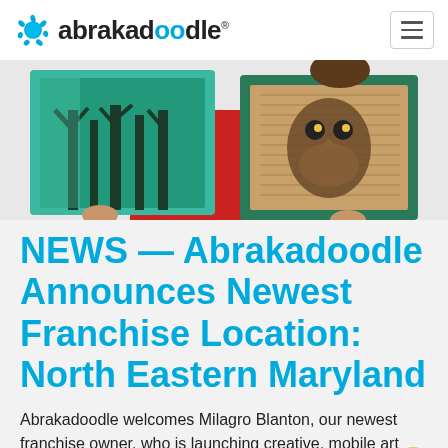abrakadoodle®
[Figure (photo): Person in red dress holding two pieces of artwork: one a green forest scene on foil, another a textured brown owl on burlap with teal border]
NEWS — Abrakadoodle Announces Newest Franchise Location: North Eastern Maryland
Abrakadoodle welcomes Milagro Blanton, our newest franchise owner, who is launching creative, mobile art programs in North Eastern Maryland.